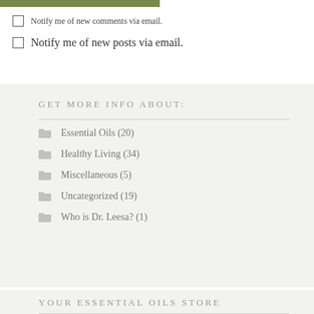[Figure (other): Olive/green colored horizontal bar at top of page]
Notify me of new comments via email.
Notify me of new posts via email.
GET MORE INFO ABOUT:
Essential Oils (20)
Healthy Living (34)
Miscellaneous (5)
Uncategorized (19)
Who is Dr. Leesa? (1)
YOUR ESSENTIAL OILS STORE